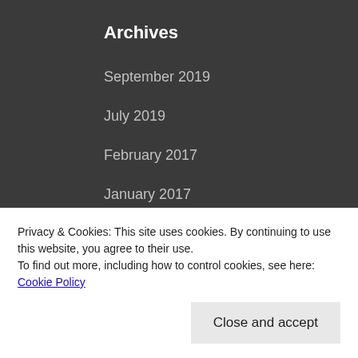Archives
September 2019
July 2019
February 2017
January 2017
December 2016
November 2016
June 2016
March 2016
Privacy & Cookies: This site uses cookies. By continuing to use this website, you agree to their use.
To find out more, including how to control cookies, see here: Cookie Policy
Close and accept